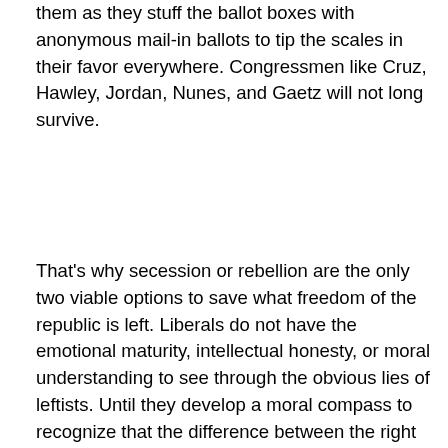them as they stuff the ballot boxes with anonymous mail-in ballots to tip the scales in their favor everywhere. Congressmen like Cruz, Hawley, Jordan, Nunes, and Gaetz will not long survive.
That's why secession or rebellion are the only two viable options to save what freedom of the republic is left. Liberals do not have the emotional maturity, intellectual honesty, or moral understanding to see through the obvious lies of leftists. Until they develop a moral compass to recognize that the difference between the right and the left is the war between good and evil, and not just two sides of the same coin to do what is right, to tell the difference between those who share and those who steal out of selfish greed, those who are honest and those who deceive, they will be at the mercy of their lies. Liberals are shallow thinkers who don't think beyond what they are told